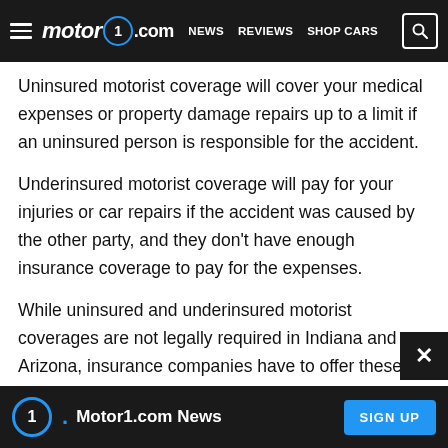motor1.com — NEWS  REVIEWS  SHOP CARS
Uninsured motorist coverage will cover your medical expenses or property damage repairs up to a limit if an uninsured person is responsible for the accident.
Underinsured motorist coverage will pay for your injuries or car repairs if the accident was caused by the other party, and they don't have enough insurance coverage to pay for the expenses.
While uninsured and underinsured motorist coverages are not legally required in Indiana and Arizona, insurance companies have to offer these coverages to customers. If you don't want to purchase these coverages, you can reject them in writing.
Motor1.com News — SIGN UP